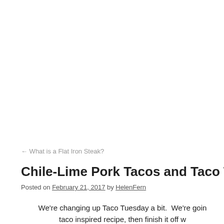← What is a Flat Iron Steak?
Chile-Lime Pork Tacos and Taco Tuesday
Posted on February 21, 2017 by HelenFern
We're changing up Taco Tuesday a bit.  We're going to start with a taco inspired recipe, then finish it off w